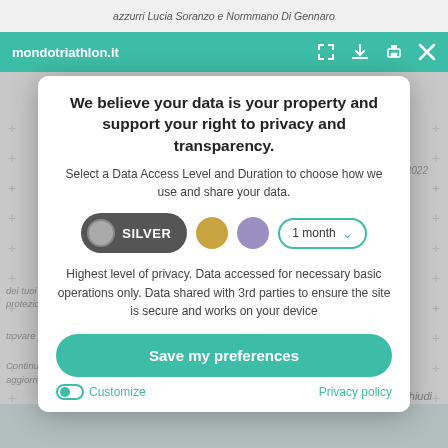azzurri Lucia Soranzo e Normmano Di Gennaro
mondotriathlon.it
We believe your data is your property and support your right to privacy and transparency.
Select a Data Access Level and Duration to choose how we use and share your data.
SILVER | 1 month
Highest level of privacy. Data accessed for necessary basic operations only. Data shared with 3rd parties to ensure the site is secure and works on your device
Save my preferences
Customize
Privacy policy
Accetta e chiudi